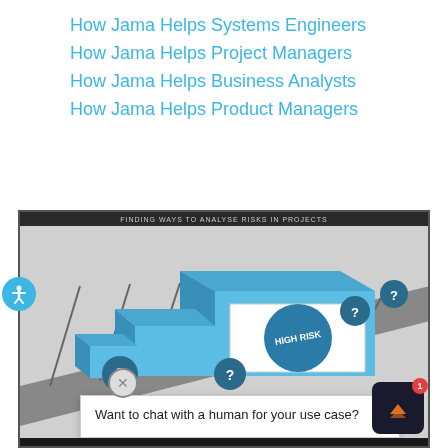How Jama Helps Systems Engineers
How Jama Helps Project Managers
How Jama Helps Business Analysts
How Jama Helps Product Managers
[Figure (screenshot): Screenshot of a video or interactive module titled 'FINDING WAYS TO ANALYSE RISKS IN PROJECTS' showing a 3D conveyor belt illustration with boxes labeled with question marks and a 'HIGH RISK' stamp graphic. A chat overlay at the bottom reads 'Want to chat with a human for your use case?' with a close button and chat app icon.]